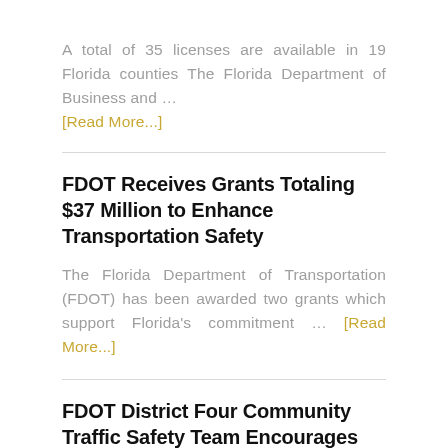A total of 35 licenses are available in 19 Florida counties The Florida Department of Business and … [Read More...]
FDOT Receives Grants Totaling $37 Million to Enhance Transportation Safety
The Florida Department of Transportation (FDOT) has been awarded two grants which support Florida's commitment … [Read More...]
FDOT District Four Community Traffic Safety Team Encourages Everyone to Slow Down